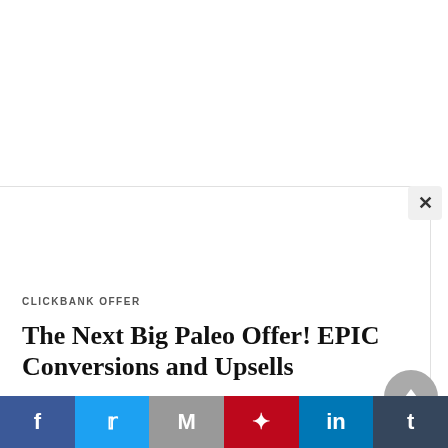[Figure (screenshot): White area at top, likely an ad or image placeholder area]
CLICKBANK OFFER
The Next Big Paleo Offer! EPIC Conversions and Upsells
Product Name: The Next Big Paleo Offer! EPIC Conversions and